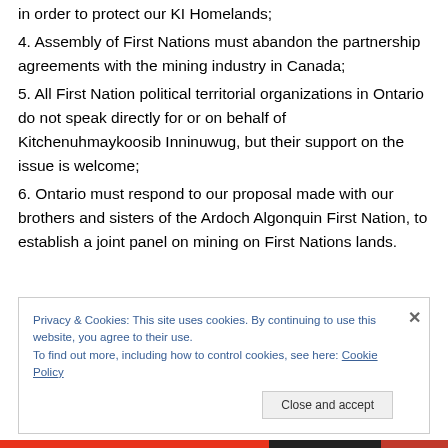in order to protect our KI Homelands;
4. Assembly of First Nations must abandon the partnership agreements with the mining industry in Canada;
5. All First Nation political territorial organizations in Ontario do not speak directly for or on behalf of Kitchenuhmaykoosib Inninuwug, but their support on the issue is welcome;
6. Ontario must respond to our proposal made with our brothers and sisters of the Ardoch Algonquin First Nation, to establish a joint panel on mining on First Nations lands.
Privacy & Cookies: This site uses cookies. By continuing to use this website, you agree to their use. To find out more, including how to control cookies, see here: Cookie Policy